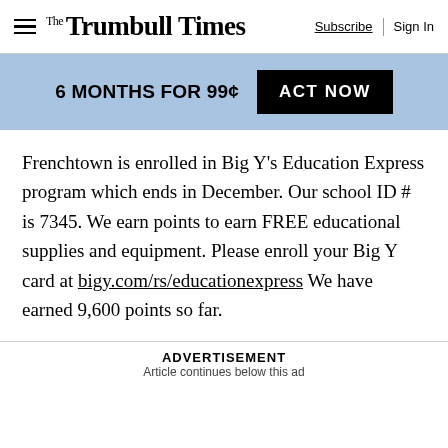The Trumbull Times — Subscribe | Sign In
6 MONTHS FOR 99¢  ACT NOW
Frenchtown is enrolled in Big Y's Education Express program which ends in December. Our school ID # is 7345. We earn points to earn FREE educational supplies and equipment. Please enroll your Big Y card at bigy.com/rs/educationexpress We have earned 9,600 points so far.
ADVERTISEMENT
Article continues below this ad